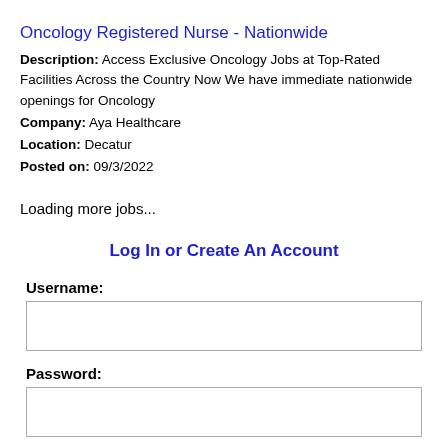Oncology Registered Nurse - Nationwide
Description: Access Exclusive Oncology Jobs at Top-Rated Facilities Across the Country Now We have immediate nationwide openings for Oncology
Company: Aya Healthcare
Location: Decatur
Posted on: 09/3/2022
Loading more jobs...
Log In or Create An Account
Username:
Password:
Log In